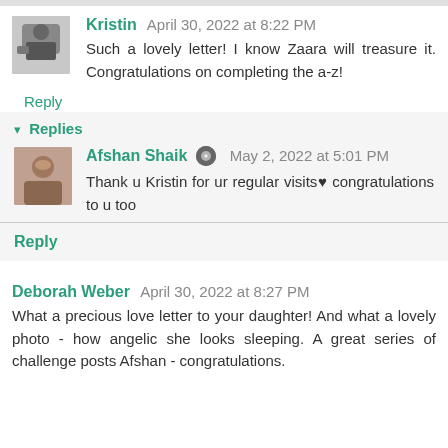Kristin April 30, 2022 at 8:22 PM
Such a lovely letter! I know Zaara will treasure it. Congratulations on completing the a-z!
Reply
Replies
Afshan Shaik May 2, 2022 at 5:01 PM
Thank u Kristin for ur regular visits♥ congratulations to u too
Reply
Deborah Weber April 30, 2022 at 8:27 PM
What a precious love letter to your daughter! And what a lovely photo - how angelic she looks sleeping. A great series of challenge posts Afshan - congratulations.